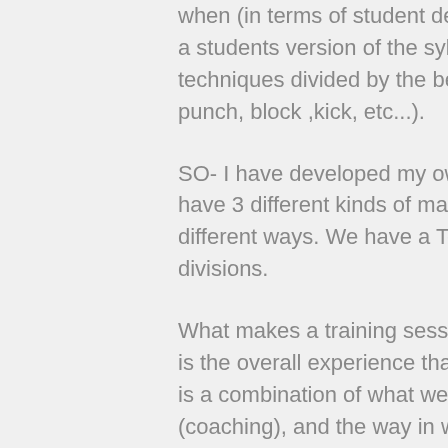when (in terms of student development). When the club does have a students version of the syllabus it is usually just a list of the bare techniques divided by the belt level (yellow- Kata shodan, technical: punch, block ,kick, etc...).
SO- I have developed my own and broken it down like this: We have 3 different kinds of manuals or syllabus that are protected in different ways. We have a Technical, Fundamental, and Coaching divisions.
What makes a training session with me different, or one at my club is the overall experience that the student receives. This perception is a combination of what we do (technical), how we teach it (coaching), and the way in which we put those together (fundamental).
A) Technical - This is simply the description of the motions we are asking the student to learn. It is the physical how-to of Punch A- put you hand here, and move like this, Block B- do this followed by do that.